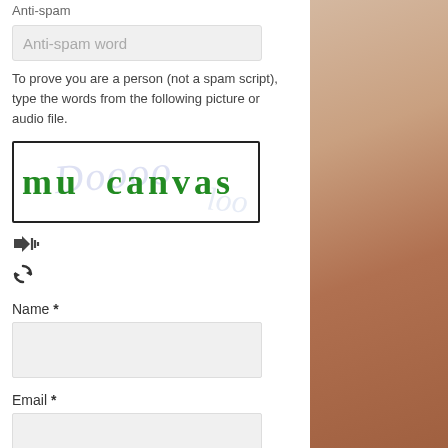Anti-spam
Anti-spam word
To prove you are a person (not a spam script), type the words from the following picture or audio file.
[Figure (other): CAPTCHA image showing the text 'mu canvas' in green handwritten-style font on a white background with faint watermark text]
Name *
Email *
Save my name, email, and website in this browser for the next time I comment.